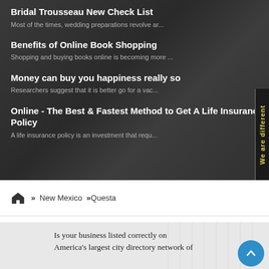Bridal Trousseau New Check List
Most of the times, wedding preparations revolve ar…
Benefits of Online Book Shopping
Shopping and buying books online is becoming more …
Money can buy you happiness really so
Researchers suggest that it is better go for a vac…
Online - The Best & Fastest Method to Get A Life Insurance Policy
A life insurance policy is an investment that requ…
We are different
» New Mexico »Questa
Is your business listed correctly on America's largest city directory network of